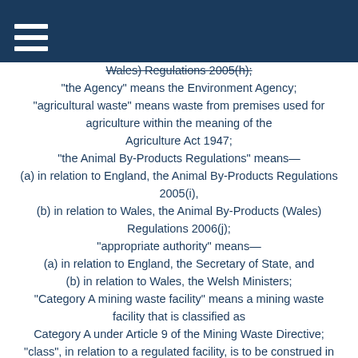Wales) Regulations 2005(h);
"the Agency" means the Environment Agency; "agricultural waste" means waste from premises used for agriculture within the meaning of the Agriculture Act 1947; "the Animal By-Products Regulations" means— (a) in relation to England, the Animal By-Products Regulations 2005(i), (b) in relation to Wales, the Animal By-Products (Wales) Regulations 2006(j); "appropriate authority" means— (a) in relation to England, the Secretary of State, and (b) in relation to Wales, the Welsh Ministers; "Category A mining waste facility" means a mining waste facility that is classified as Category A under Article 9 of the Mining Waste Directive; "class", in relation to a regulated facility, is to be construed in accordance with regulation 8; "coastal waters" has the meaning given in section 104 of the 1991 Act;